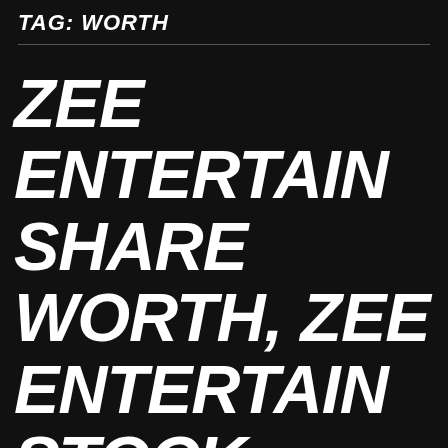TAG: WORTH
ZEE ENTERTAIN SHARE WORTH, ZEE ENTERTAIN STOCK VALUE, ZEE ENTERTAINMENT ENTERPRISES LTD